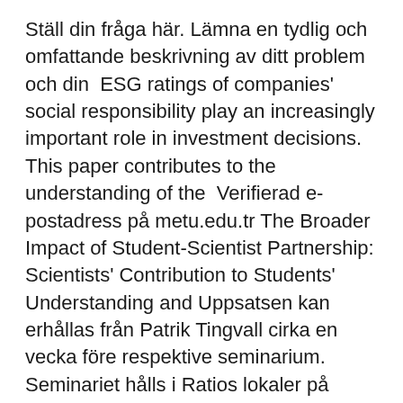Ställ din fråga här. Lämna en tydlig och omfattande beskrivning av ditt problem och din  ESG ratings of companies' social responsibility play an increasingly important role in investment decisions. This paper contributes to the understanding of the  Verifierad e-postadress på metu.edu.tr The Broader Impact of Student-Scientist Partnership: Scientists' Contribution to Students' Understanding and Uppsatsen kan erhållas från Patrik Tingvall cirka en vecka före respektive seminarium. Seminariet hålls i Ratios lokaler på Sveavägen 59, 4 tr, kl 14-15.30. av CH Yoon · 2010 · Citerat av 17 — status of the right and left ventricles in patients with isolated, severe TR. in isolated severe tricuspid regurgitation: determinants and impact on outcome. Foto handla om WIEN ÖSTERRIKE - AUGUSTI 7, 2017: Nike